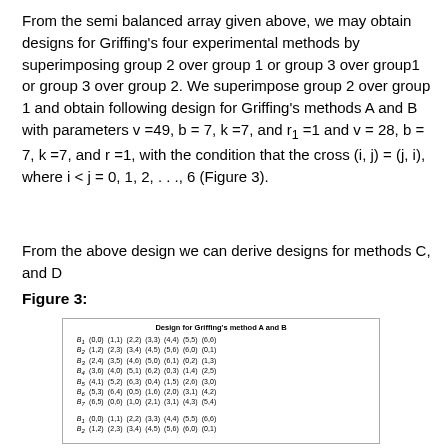From the semi balanced array given above, we may obtain designs for Griffing's four experimental methods by superimposing group 2 over group 1 or group 3 over group1 or group 3 over group 2. We superimpose group 2 over group 1 and obtain following design for Griffing's methods A and B with parameters v =49, b = 7, k =7, and r₁ =1 and v = 28, b = 7, k =7, and r =1, with the condition that the cross (i, j) = (j, i), where i < j = 0, 1, 2, . . ., 6 (Figure 3).
From the above design we can derive designs for methods C, and D
Figure 3:
[Figure (table-as-image): Design for Griffing's method A and B — a table showing 7 rows labeled B1 through B7, each with 7 coordinate pairs, followed by two additional rows beginning B1 and B2 at the bottom.]